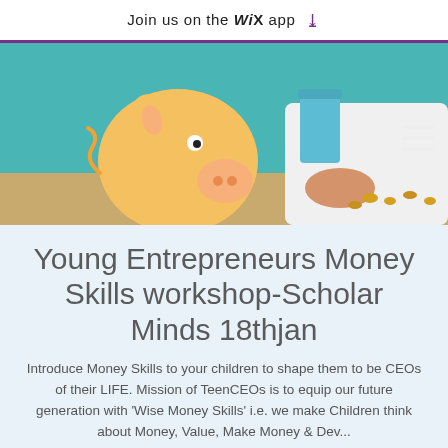Join us on the WiX app ⬇
[Figure (photo): A child in a white coat with a piggy bank and coins scattered on a table, teal background]
Young Entrepreneurs Money Skills workshop-Scholar Minds 18thjan
Introduce Money Skills to your children to shape them to be CEOs of their LIFE. Mission of TeenCEOs is to equip our future generation with 'Wise Money Skills' i.e. we make Children think about Money, Value, Make Money & Deve...